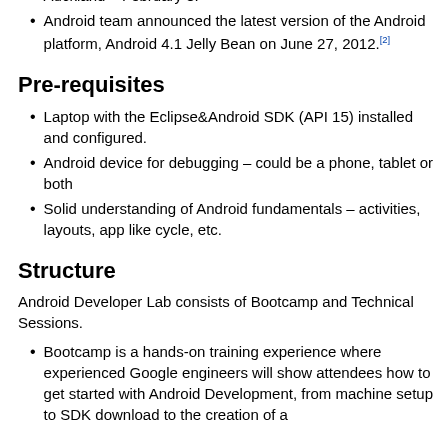Melbourne – January 31, Sydney – February 3, and Auckland – February 8.[2]
Android team announced the latest version of the Android platform, Android 4.1 Jelly Bean on June 27, 2012.[2]
Pre-requisites
Laptop with the Eclipse&Android SDK (API 15) installed and configured.
Android device for debugging – could be a phone, tablet or both
Solid understanding of Android fundamentals – activities, layouts, app like cycle, etc.
Structure
Android Developer Lab consists of Bootcamp and Technical Sessions.
Bootcamp is a hands-on training experience where experienced Google engineers will show attendees how to get started with Android Development, from machine setup to SDK download to the creation of a